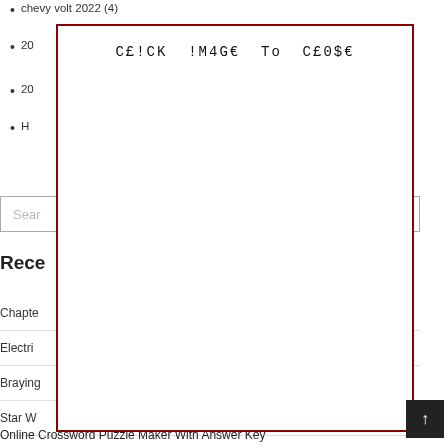chevy volt 2022 (4)
2008 chevrolet cobalt (4)
20…
H…
[Figure (screenshot): Modal overlay with dark red border displaying text 'C£!CK !M4G€ To C£0$€' in monospace font]
Search
Rece…
Chapte…
Electri…
Braying…
Star W…
Online Crossword Puzzle Maker With Answer Key